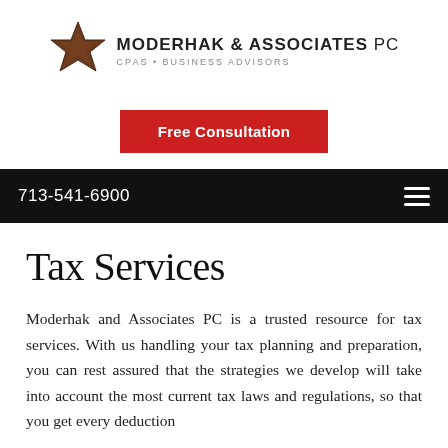[Figure (logo): Moderhak & Associates PC logo with a brown star on the left and text reading MODERHAK & ASSOCIATES PC / CPAs • BUSINESS ADVISORS]
Free Consultation
713-541-6900
Tax Services
Moderhak and Associates PC is a trusted resource for tax services. With us handling your tax planning and preparation, you can rest assured that the strategies we develop will take into account the most current tax laws and regulations, so that you get every deduction